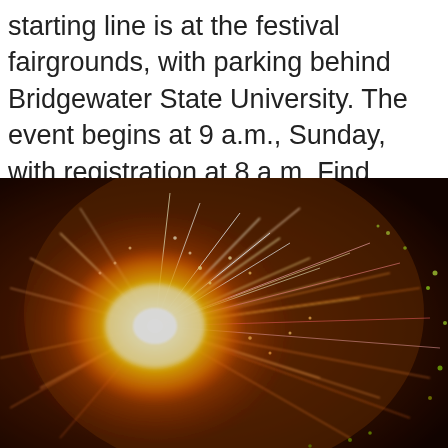starting line is at the festival fairgrounds, with parking behind Bridgewater State University. The event begins at 9 a.m., Sunday, with registration at 8 a.m. Find more information at the race's web page.
[Figure (photo): Close-up photograph of a fireworks explosion with bright orange, yellow, red, and green sparks radiating outward against a dark background.]